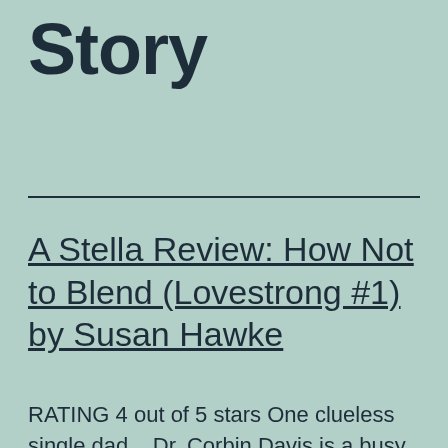Story
A Stella Review: How Not to Blend (Lovestrong #1) by Susan Hawke
RATING 4 out of 5 stars One clueless single dad... Dr. Corbin Davis is a busy guy just trying